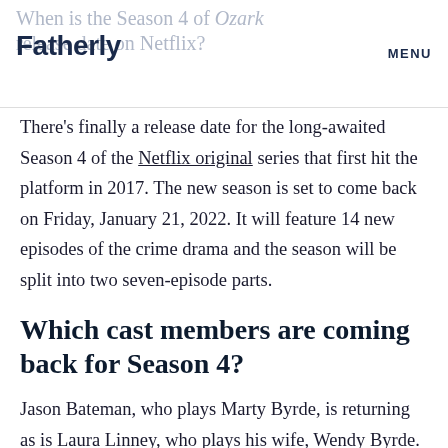Fatherly | When is the Season 4 of Ozark release date on Netflix? MENU
There's finally a release date for the long-awaited Season 4 of the Netflix original series that first hit the platform in 2017. The new season is set to come back on Friday, January 21, 2022. It will feature 14 new episodes of the crime drama and the season will be split into two seven-episode parts.
Which cast members are coming back for Season 4?
Jason Bateman, who plays Marty Byrde, is returning as is Laura Linney, who plays his wife, Wendy Byrde. The rest of the Byrde family – daughter Charlotte and